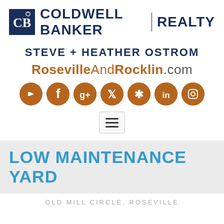[Figure (logo): Coldwell Banker Realty logo with dark blue square CB monogram and the text COLDWELL BANKER | REALTY in dark navy]
STEVE + HEATHER OSTROM
RosevilleAndRocklin.com
[Figure (infographic): Row of 7 brown circular social media icons: YouTube, Facebook, Google+, Twitter, Yelp, LinkedIn, Instagram]
[Figure (other): Hamburger menu button with three horizontal lines inside a rounded rectangle border]
LOW MAINTENANCE YARD
OLD MILL CIRCLE, ROSEVILLE